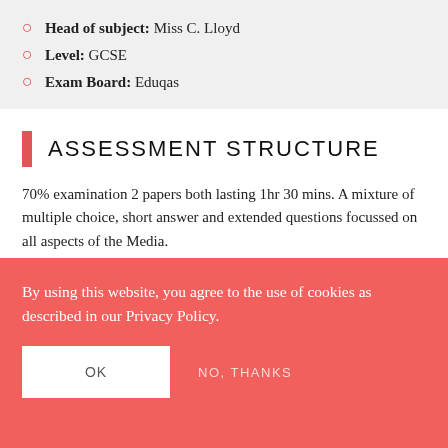Head of subject: Miss C. Lloyd
Level: GCSE
Exam Board: Eduqas
ASSESSMENT STRUCTURE
70% examination 2 papers both lasting 1hr 30 mins. A mixture of multiple choice, short answer and extended questions focussed on all aspects of the Media.
30% Coursework focussing on the creation of a Media
By using this website, you agree to the use of cookies as described in our Privacy Policy.
OK
NO, THANKS